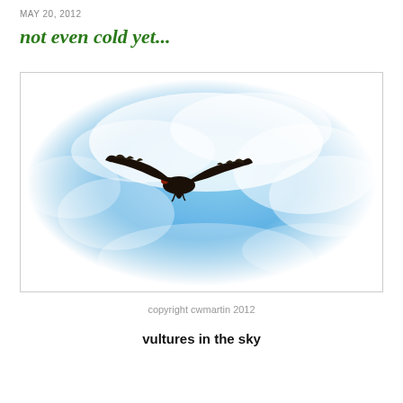MAY 20, 2012
not even cold yet...
[Figure (photo): A black vulture soaring in a blue sky with white clouds, photo has a watercolor-style vignette border fading to white at the edges.]
copyright cwmartin 2012
vultures in the sky